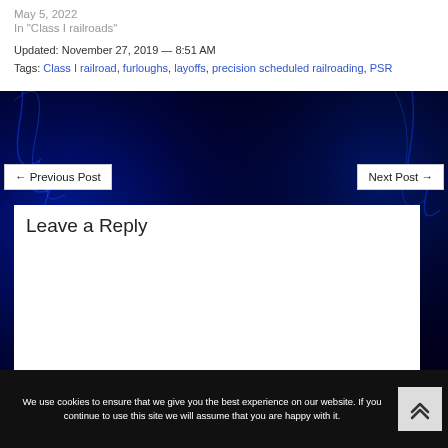May 5, 2022
In "Class I railroads"
Updated: November 27, 2019 — 8:51 AM
Tags: Class I railroad, furloughs, layoffs, precision scheduled railroading, PSR
← Previous Post
Next Post →
Leave a Reply
We use cookies to ensure that we give you the best experience on our website. If you continue to use this site we will assume that you are happy with it.